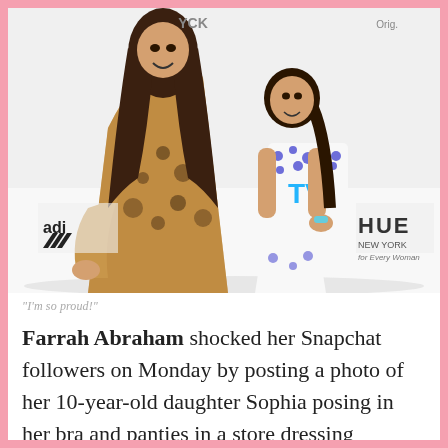[Figure (photo): A woman in a leopard-print dress and a young girl in a white MTV polka-dot top posing together at an event with Adidas and HUE New York banners in the background]
"I'm so proud!"
Farrah Abraham shocked her Snapchat followers on Monday by posting a photo of her 10-year-old daughter Sophia posing in her bra and panties in a store dressing